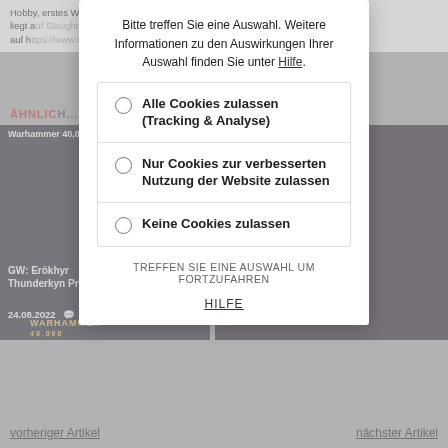Hobby, erstes Warhammer, Anomalien, aktueller Fokus liegt auf Slaughter Steps... mit 40.000 mehr auf https://www.instagram.com/Glueckman/
ÄHNLIC...
[Figure (screenshot): Card: GW: Erökhyr Thunderkyn Preview, 24.08.2022, 9 comments, Warhammer 40,000]
[Figure (screenshot): Card: Blood Bowl / Fantasy Football, Warhammer 40,000, GW: Wochenvorschau mit Chaos Verstärkungen, 23.08.2022, 17 comments]
Bitte treffen Sie eine Auswahl. Weitere Informationen zu den Auswirkungen Ihrer Auswahl finden Sie unter Hilfe.
Alle Cookies zulassen (Tracking & Analyse)
Nur Cookies zur verbesserten Nutzung der Website zulassen
Keine Cookies zulassen
TREFFEN SIE EINE AUSWAHL UM FORTZUFAHREN
HILFE
vorheriger Artikel
nächster Artikel